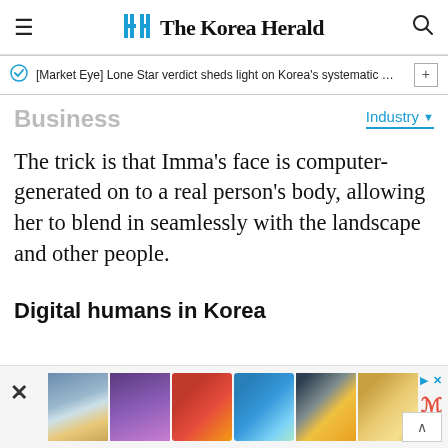The Korea Herald
[Market Eye] Lone Star verdict sheds light on Korea's systematic …
Business
The trick is that Imma's face is computer-generated on to a real person's body, allowing her to blend in seamlessly with the landscape and other people.
Digital humans in Korea
[Figure (other): Advertisement banner with phone and scooter product images]